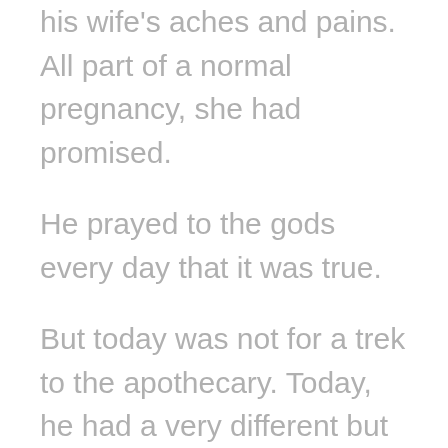his wife's aches and pains. All part of a normal pregnancy, she had promised.
He prayed to the gods every day that it was true.
But today was not for a trek to the apothecary. Today, he had a very different but no less important mission.
The mist stung his eyes as he rode his steed through the mud and muck, the passersby hunched over, blocking their faces from the biting wind and cold, icy rain. They seemed rather in a hurry today, bustling to and from shop to shop, as if